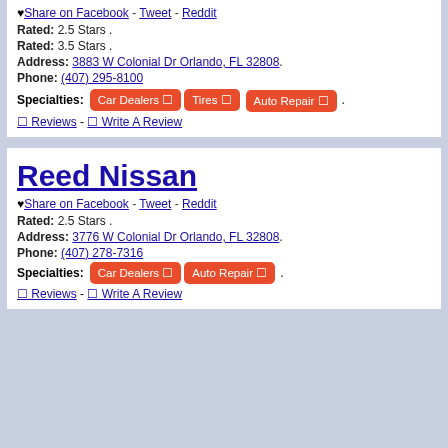♥ Share on Facebook - Tweet - Reddit
Rated: 3.5 Stars .
Address: 3883 W Colonial Dr Orlando, FL 32808.
Phone: (407) 295-8100
Specialties: Car Dealers  Tires  Auto Repair .
Reviews - Write A Review
Reed Nissan
♥ Share on Facebook - Tweet - Reddit
Rated: 2.5 Stars .
Address: 3776 W Colonial Dr Orlando, FL 32808.
Phone: (407) 278-7316
Specialties: Car Dealers  Auto Repair .
Reviews - Write A Review